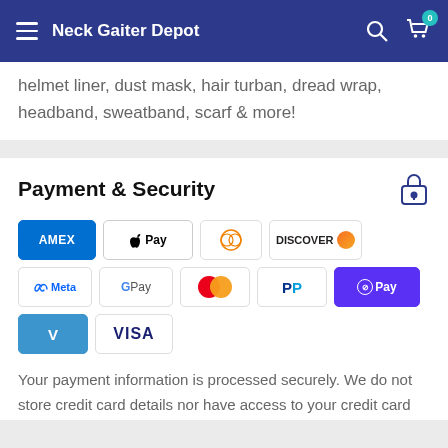Neck Gaiter Depot
helmet liner, dust mask, hair turban, dread wrap, headband, sweatband, scarf & more!
Payment & Security
[Figure (other): Payment method logos: American Express, Apple Pay, Diners Club, Discover, Meta Pay, Google Pay, Mastercard, PayPal, Shop Pay, Venmo, Visa]
Your payment information is processed securely. We do not store credit card details nor have access to your credit card information.